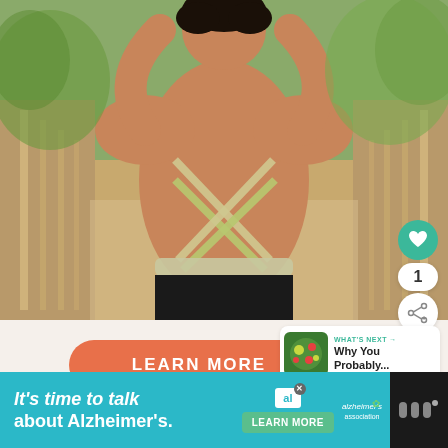[Figure (photo): Woman seen from behind wearing a cross-strap sports bra and black leggings, standing on a wooden bridge surrounded by trees. Hands raised behind head.]
1
WHAT'S NEXT → Why You Probably...
LEARN MORE
It's time to talk about Alzheimer's.
LEARN MORE
alzheimer's association